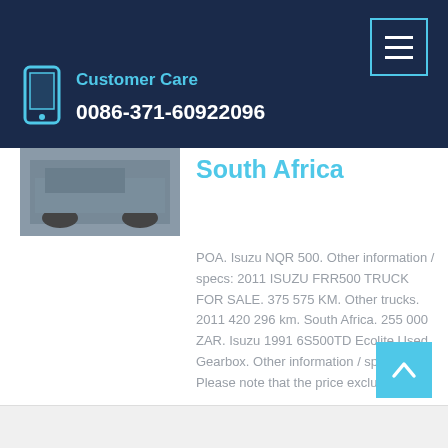Customer Care 0086-371-60922096
South Africa
POA. Isuzu NQR 500. Other information / specs: 2011 ISUZU FRR500 TRUCK FOR SALE. 375 575 KM. Other trucks. 2011 420 296 km. South Africa. 255 000 ZAR. Isuzu 1991 6S500TD Ecolite Used Gearbox. Other information / specs: Please note that the price excludes VAT.
Learn More